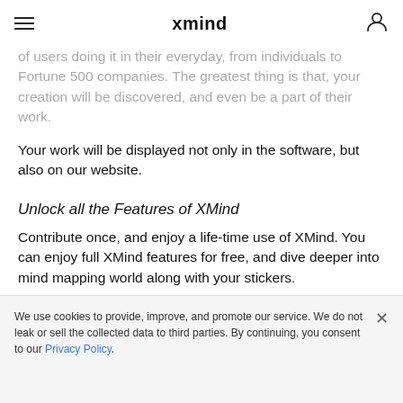xmind
of users doing it in their everyday, from individuals to Fortune 500 companies. The greatest thing is that, your creation will be discovered, and even be a part of their work.
Your work will be displayed not only in the software, but also on our website.
Unlock all the Features of XMind
Contribute once, and enjoy a life-time use of XMind. You can enjoy full XMind features for free, and dive deeper into mind mapping world along with your stickers.
We use cookies to provide, improve, and promote our service. We do not leak or sell the collected data to third parties. By continuing, you consent to our Privacy Policy.